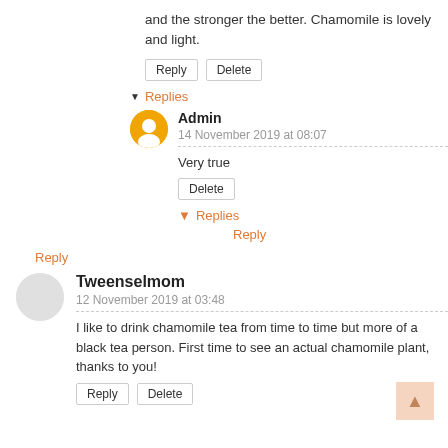and the stronger the better. Chamomile is lovely and light.
Reply | Delete
▼ Replies
Admin
14 November 2019 at 08:07
Very true
Delete
▼ Replies
Reply
Reply
Tweenselmom
12 November 2019 at 03:48
I like to drink chamomile tea from time to time but more of a black tea person. First time to see an actual chamomile plant, thanks to you!
Reply | Delete